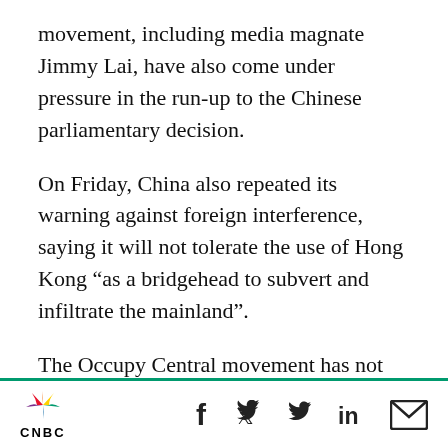movement, including media magnate Jimmy Lai, have also come under pressure in the run-up to the Chinese parliamentary decision.
On Friday, China also repeated its warning against foreign interference, saying it will not tolerate the use of Hong Kong “as a bridgehead to subvert and infiltrate the mainland”.
The Occupy Central movement has not yet won broad support among Hong Kong’s middle class, who are concerned about antagonizing China and disruptions to business, but strong measures by China or the Hong Kong police could change that.
CNBC